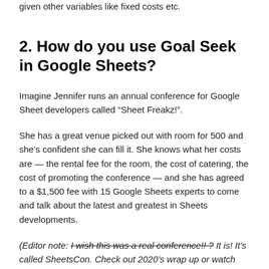given other variables like fixed costs etc.
2. How do you use Goal Seek in Google Sheets?
Imagine Jennifer runs an annual conference for Google Sheet developers called “Sheet Freakz!”.
She has a great venue picked out with room for 500 and she’s confident she can fill it. She knows what her costs are — the rental fee for the room, the cost of catering, the cost of promoting the conference — and she has agreed to a $1,500 fee with 15 Google Sheets experts to come and talk about the latest and greatest in Sheets developments.
(Editor note: I wish this was a real conference!! ? It is! It’s called SheetsCon. Check out 2020’s wrap up or watch